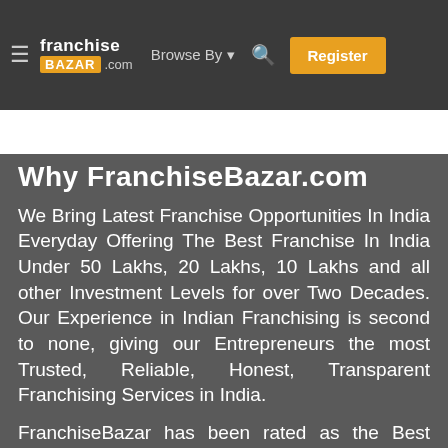franchise BAZAR .com   Browse By   Register
Start FranchiseBazar In Your City   List Your Brand
Why FranchiseBazar.com
We Bring Latest Franchise Opportunities In India Everyday Offering The Best Franchise In India Under 50 Lakhs, 20 Lakhs, 10 Lakhs and all other Investment Levels for over Two Decades. Our Experience in Indian Franchising is second to none, giving our Entrepreneurs the most Trusted, Reliable, Honest, Transparent Franchising Services in India.
FranchiseBazar has been rated as the Best Franchise Websites in India consistently as Business Buyers shower consistent positive